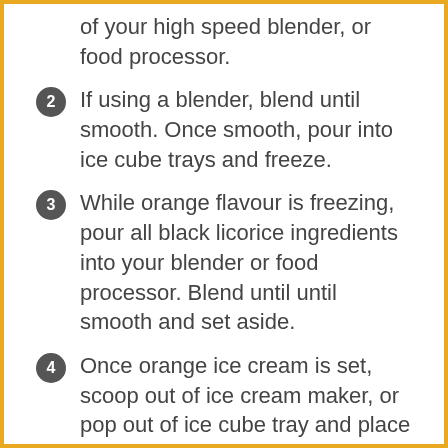of your high speed blender, or food processor.
2 If using a blender, blend until smooth. Once smooth, pour into ice cube trays and freeze.
3 While orange flavour is freezing, pour all black licorice ingredients into your blender or food processor. Blend until until smooth and set aside.
4 Once orange ice cream is set, scoop out of ice cream maker, or pop out of ice cube tray and place in a large glass container with space between scoops or cubes. Slowly pour in the black licorice flavour so it pools around the